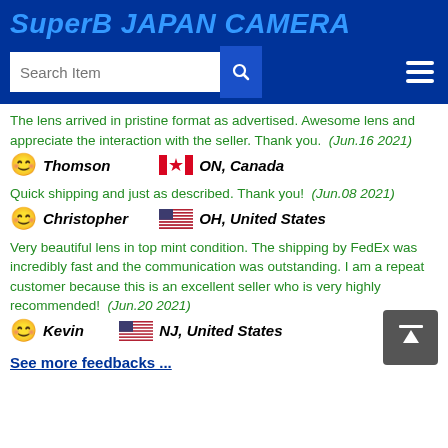SuperB JAPAN CAMERA
The lens arrived in pristine format as advertised. Awesome lens and appreciate the interaction with the seller. Thank you. (Jun.16 2021)
Thomson  ON, Canada
Quick shipping and just as described. Thank you!  (Jun.08 2021)
Christopher  OH, United States
Very beautiful lens in top mint condition. The shipping by FedEx was incredibly fast and the communication was outstanding. I am a repeat customer because this is an excellent seller who is very highly recommended!  (Jun.20 2021)
Kevin  NJ, United States
See more feedbacks ...